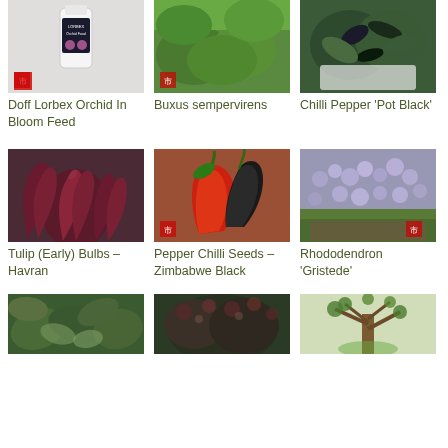[Figure (photo): Doff Lorbex Orchid In Bloom Feed product bottle]
Doff Lorbex Orchid In Bloom Feed
[Figure (photo): Buxus sempervirens green hedge shrubs]
Buxus sempervirens
[Figure (photo): Chilli Pepper Pot Black plant with dark peppers]
Chilli Pepper 'Pot Black'
[Figure (photo): Tulip Early Bulbs Havran dark purple tulips]
Tulip (Early) Bulbs – Havran
[Figure (photo): Pepper Chilli Seeds Zimbabwe Black red and black chilli]
Pepper Chilli Seeds – Zimbabwe Black
[Figure (photo): Rhododendron Gristede light purple flowers]
Rhododendron 'Gristede'
[Figure (photo): Green leafy plant partially visible]
[Figure (photo): Dark leafy shrub plant partially visible]
[Figure (photo): Tree plant partially visible]